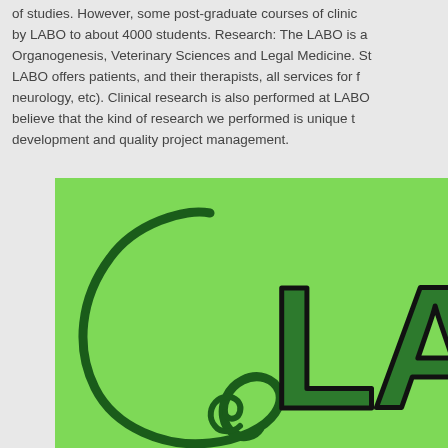of studies. However, some post-graduate courses of clinical specialization are given by LABO to about 4000 students. Research: The LABO is active in the fields of Organogenesis, Veterinary Sciences and Legal Medicine. Student clinic services: LABO offers patients, and their therapists, all services for f... neurology, etc). Clinical research is also performed at LABO... believe that the kind of research we performed is unique t... development and quality project management.
[Figure (logo): LABO logo on bright green background showing a decorative spiral/curl design in dark green on the left and large stylized letters 'LAB' in dark green on the right]